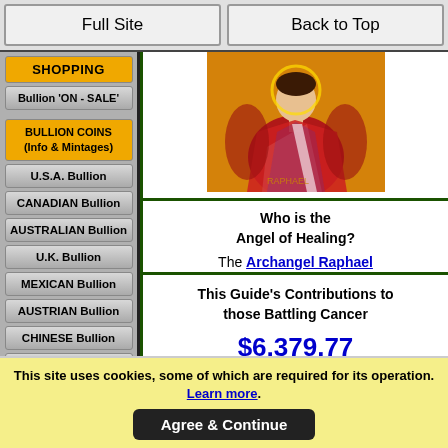Full Site | Back to Top
SHOPPING
Bullion 'ON - SALE'
BULLION COINS (Info & Mintages)
U.S.A. Bullion
CANADIAN Bullion
AUSTRALIAN Bullion
U.K. Bullion
MEXICAN Bullion
AUSTRIAN Bullion
CHINESE Bullion
[Figure (illustration): Illustration of Archangel Raphael in red robes on golden background]
Who is the Angel of Healing?
The Archangel Raphael
This Guide's Contributions to those Battling Cancer
$6,379.77
Next Ledger Spreadsheet Entry
This site uses cookies, some of which are required for its operation. Learn more. Agree & Continue